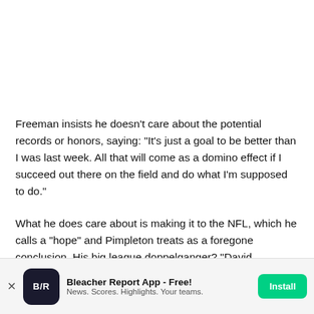Freeman insists he doesn't care about the potential records or honors, saying: “It's just a goal to be better than I was last week. All that will come as a domino effect if I succeed out there on the field and do what I'm supposed to do.”
What he does care about is making it to the NFL, which he calls a “hope” and Pimpleton treats as a foregone conclusion. His big league doppelganger? “David
[Figure (other): Bleacher Report app advertisement banner with BR logo, title 'Bleacher Report App - Free!', subtitle 'News. Scores. Highlights. Your teams.' and green Install button]